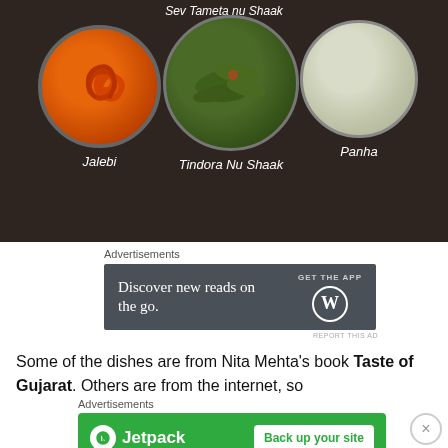[Figure (photo): Food photo showing three bowls of Indian dishes on a dark wooden surface: Jalebi (orange spiral sweets), Tindora Nu Shaak (green vegetable curry), and Panha (pale green drink). Text label 'Sev Tameta nu Shaak' visible at top.]
Advertisements
[Figure (other): Dark grey advertisement banner: 'Discover new reads on the go.' with GET THE APP and WordPress logo]
REPORT THIS AD
Some of the dishes are from Nita Mehta’s book Taste of Gujarat. Others are from the internet, so
Advertisements
[Figure (other): Green Jetpack advertisement banner with 'Back up your site' button]
REPORT THIS AD